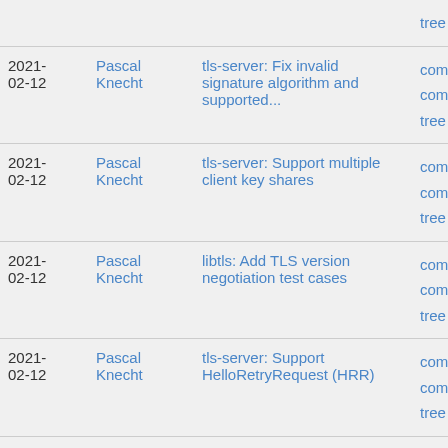| Date | Author | Message | Links |
| --- | --- | --- | --- |
|  |  |  | tree |
| 2021-02-12 | Pascal Knecht | tls-server: Fix invalid signature algorithm and supported... | commit | commitdiff | tree |
| 2021-02-12 | Pascal Knecht | tls-server: Support multiple client key shares | commit | commitdiff | tree |
| 2021-02-12 | Pascal Knecht | libtls: Add TLS version negotiation test cases | commit | commitdiff | tree |
| 2021-02-12 | Pascal Knecht | tls-server: Support HelloRetryRequest (HRR) | commit | commitdiff | tree |
| 2021-02-12 | Pascal Knecht | tls-crypto: Add support to configure DH groups to use | commit | commitdiff | tree |
| 2021-02-12 | Tobias Brunner | diffie-hellman: Add enum names that match proposal... | commit | commitdiff | tree |
| 2021-02-12 | Pascal Knecht | tls-crypto: Generalizing DH group to TLS group mapping... | commit | commitdiff |